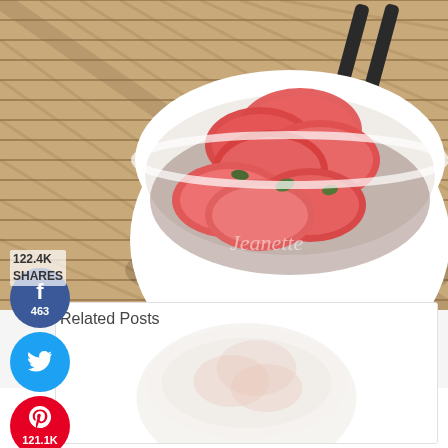[Figure (photo): A white bowl filled with sliced red sausage/hot dogs with green peppers, placed on a bamboo mat with black chopsticks beside it. A watermark 'Jeanette' is visible on the bowl.]
122.4K
SHARES
[Figure (infographic): Social media share buttons: Facebook (463 shares), Twitter, Pinterest (121.1K shares), Yummly (Yum)]
Related Posts
[Figure (photo): Faded/light related post thumbnail image]